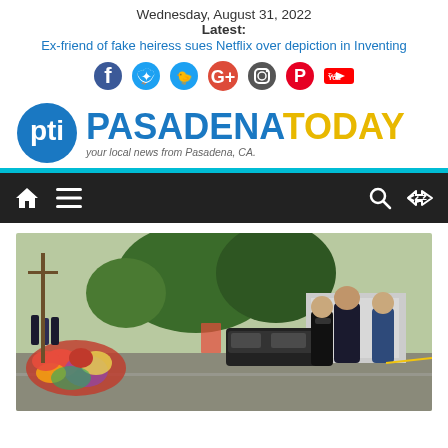Wednesday, August 31, 2022
Latest:
Ex-friend of fake heiress sues Netflix over depiction in Inventing
[Figure (other): Social media icons: Facebook, Twitter, Google+, Instagram, Pinterest, YouTube]
[Figure (logo): Pasadena Today logo with circular PTI icon, blue PASADENA and gold TODAY text, tagline: your local news from Pasadena, CA.]
[Figure (other): Navigation bar with home icon, hamburger menu, search icon, and shuffle icon on dark background]
[Figure (photo): Photo of two people standing near a flower memorial outside, with trees and parked vehicles in background, other people visible in background]